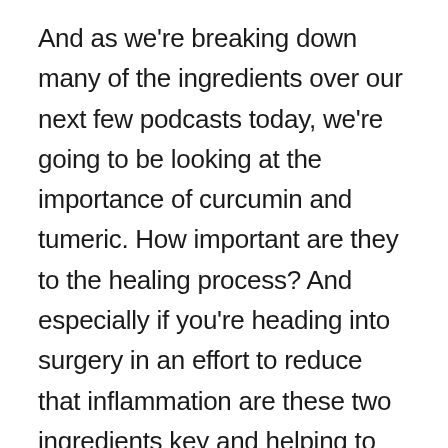And as we're breaking down many of the ingredients over our next few podcasts today, we're going to be looking at the importance of curcumin and tumeric. How important are they to the healing process? And especially if you're heading into surgery in an effort to reduce that inflammation are these two ingredients key and helping to reduce inflammation. Dr. Dolan, uh, I have heard so many great things about tumeric over the years. And I have to tell you that in the last two years, my husband has been adding tumeric to his coffee every single morning. And he swears by it saying that it's really helped him. We, we work out